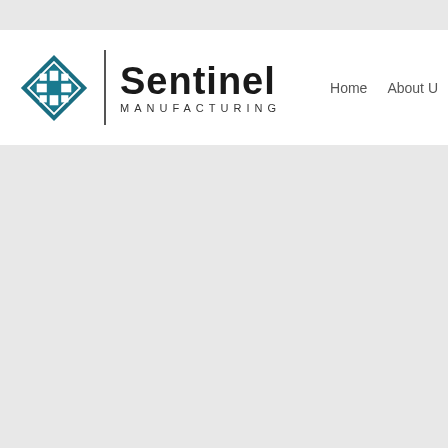[Figure (logo): Sentinel Manufacturing company logo with diamond-shaped icon in teal/dark blue with geometric pattern, vertical divider line, bold 'Sentinel' text and 'MANUFACTURING' subtitle in spaced caps]
Home   About U